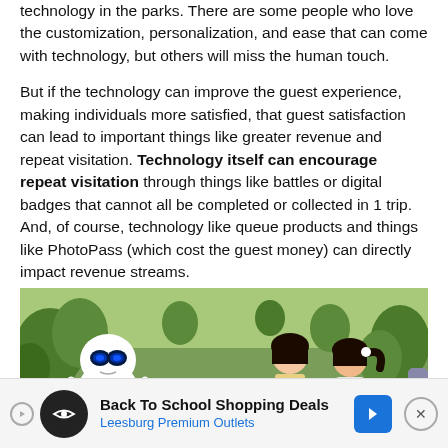technology in the parks. There are some people who love the customization, personalization, and ease that can come with technology, but others will miss the human touch.

But if the technology can improve the guest experience, making individuals more satisfied, that guest satisfaction can lead to important things like greater revenue and repeat visitation. Technology itself can encourage repeat visitation through things like battles or digital badges that cannot all be completed or collected in 1 trip. And, of course, technology like queue products and things like PhotoPass (which cost the guest money) can directly impact revenue streams.
[Figure (photo): Photo of EVE robot character (from WALL-E) with two young girls in an outdoor park setting with trees and pathway in background.]
Back To School Shopping Deals
Leesburg Premium Outlets